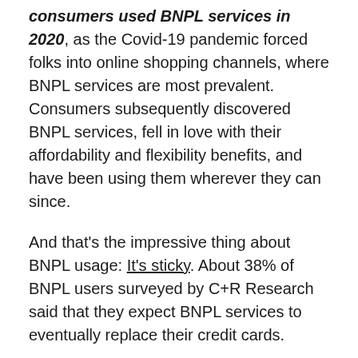consumers used BNPL services in 2020, as the Covid-19 pandemic forced folks into online shopping channels, where BNPL services are most prevalent. Consumers subsequently discovered BNPL services, fell in love with their affordability and flexibility benefits, and have been using them wherever they can since.
And that's the impressive thing about BNPL usage: It's sticky. About 38% of BNPL users surveyed by C+R Research said that they expect BNPL services to eventually replace their credit cards.
In other words, BNPL services aren't just a "Covid thing" – they're the future of how you and I pay for goods and services.